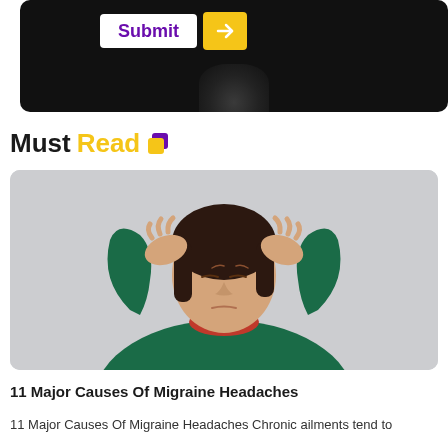[Figure (screenshot): Black UI panel showing a Submit button in purple text on white background, a yellow arrow button, and a dark knitted/textured object at the bottom.]
Must Read
[Figure (photo): Woman in green sweater and red scarf holding her head with both hands, eyes closed, appearing to be in pain from a headache. Gray background.]
11 Major Causes Of Migraine Headaches
11 Major Causes Of Migraine Headaches Chronic ailments tend to